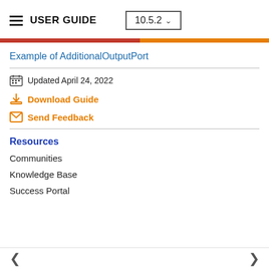USER GUIDE 10.5.2
Example of AdditionalOutputPort
Updated April 24, 2022
Download Guide
Send Feedback
Resources
Communities
Knowledge Base
Success Portal
< >